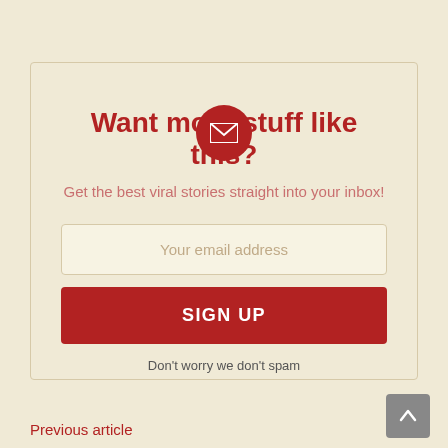[Figure (illustration): Red circular icon with a white envelope/email symbol in the center]
Want more stuff like this?
Get the best viral stories straight into your inbox!
Your email address
SIGN UP
Don't worry we don't spam
Previous article